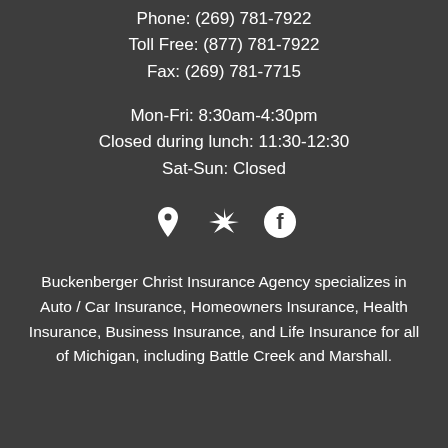Phone: (269) 781-7922
Toll Free: (877) 781-7922
Fax: (269) 781-7715
Mon-Fri: 8:30am-4:30pm
Closed during lunch: 11:30-12:30
Sat-Sun: Closed
[Figure (illustration): Three social/map icons: location pin, Yelp logo, Facebook logo]
Buckenberger Christ Insurance Agency specializes in Auto / Car Insurance, Homeowners Insurance, Health Insurance, Business Insurance, and Life Insurance for all of Michigan, including Battle Creek and Marshall.